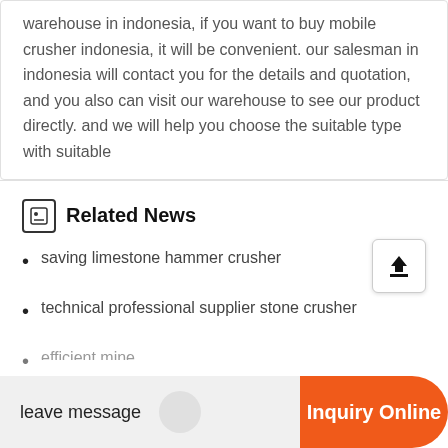warehouse in indonesia, if you want to buy mobile crusher indonesia, it will be convenient. our salesman in indonesia will contact you for the details and quotation, and you also can visit our warehouse to see our product directly. and we will help you choose the suitable type with suitable
Related News
saving limestone hammer crusher
technical professional supplier stone crusher
feeders for crusher